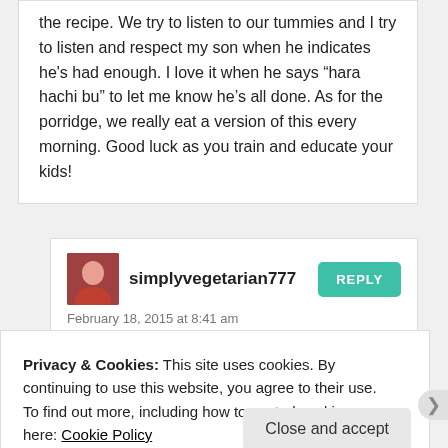the recipe. We try to listen to our tummies and I try to listen and respect my son when he indicates he's had enough. I love it when he says “hara hachi bu” to let me know he's all done. As for the porridge, we really eat a version of this every morning. Good luck as you train and educate your kids!
simplyvegetarian777
February 18, 2015 at 8:41 am
Privacy & Cookies: This site uses cookies. By continuing to use this website, you agree to their use.
To find out more, including how to control cookies, see here: Cookie Policy